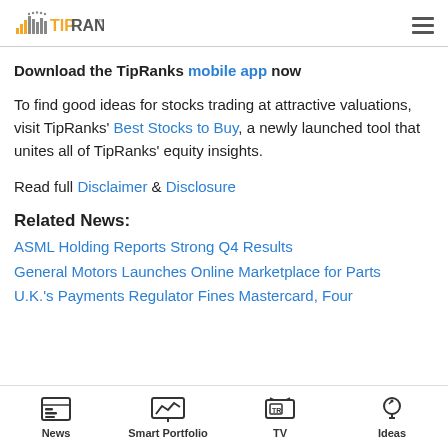TipRanks
Download the TipRanks mobile app now
To find good ideas for stocks trading at attractive valuations, visit TipRanks' Best Stocks to Buy, a newly launched tool that unites all of TipRanks' equity insights.
Read full Disclaimer & Disclosure
Related News:
ASML Holding Reports Strong Q4 Results
General Motors Launches Online Marketplace for Parts
U.K.'s Payments Regulator Fines Mastercard, Four
News  Smart Portfolio  TV  Ideas